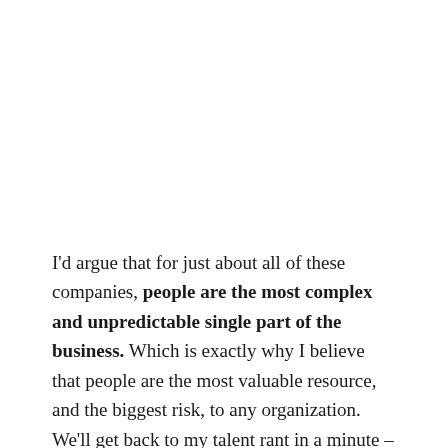I'd argue that for just about all of these companies, people are the most complex and unpredictable single part of the business. Which is exactly why I believe that people are the most valuable resource, and the biggest risk, to any organization. We'll get back to my talent rant in a minute – but first some more context around the data.